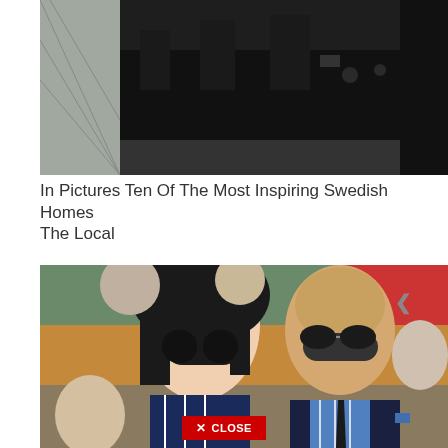[Figure (photo): Overhead/angled view of a dark interior room with chairs and a table, Scandinavian home interior]
In Pictures Ten Of The Most Inspiring Swedish Homes
The Local
[Figure (photo): A woman with dark hair and large sunglasses and a bald man with round sunglasses sitting in what appears to be stadium seating, smiling]
X CLOSE